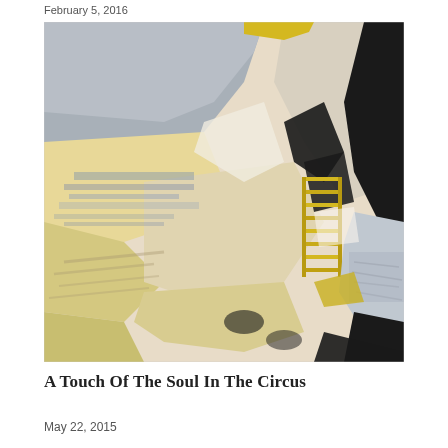February 5, 2016
[Figure (illustration): Abstract painting in yellow, grey, black, and cream tones. The composition features sweeping diagonal brushstrokes of pale yellow and grey, with black accents concentrated on the right and center, and yellow linear marks resembling scaffolding or structure in the middle-right area.]
A Touch Of The Soul In The Circus
May 22, 2015